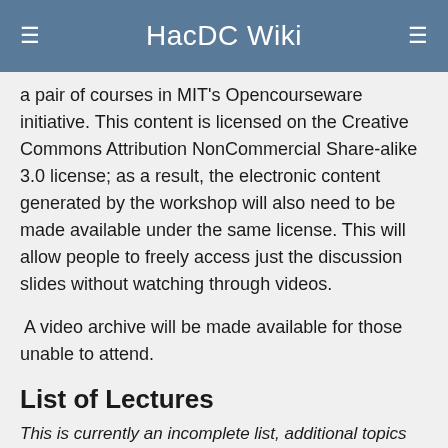HacDC Wiki
a pair of courses in MIT's Opencourseware initiative. This content is licensed on the Creative Commons Attribution NonCommercial Share-alike 3.0 license; as a result, the electronic content generated by the workshop will also need to be made available under the same license. This will allow people to freely access just the discussion slides without watching through videos.
A video archive will be made available for those unable to attend.
List of Lectures
This is currently an incomplete list, additional topics will be added as I solidify them - wgibb
| Week | Date | Topics Covered | Exercise |
| --- | --- | --- | --- |